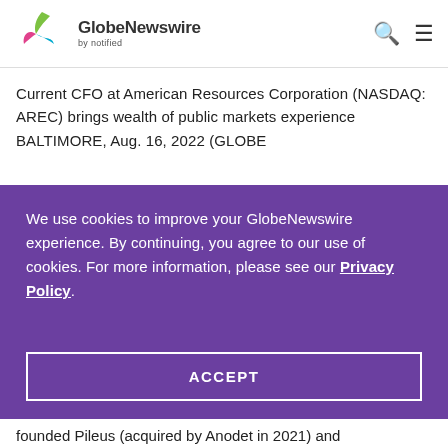[Figure (logo): GlobeNewswire by notified logo with colorful leaf/wing icon]
Current CFO at American Resources Corporation (NASDAQ: AREC) brings wealth of public markets experience BALTIMORE, Aug. 16, 2022 (GLOBE
We use cookies to improve your GlobeNewswire experience. By continuing, you agree to our use of cookies. For more information, please see our Privacy Policy.
ACCEPT
founded Pileus (acquired by Anodet in 2021) and